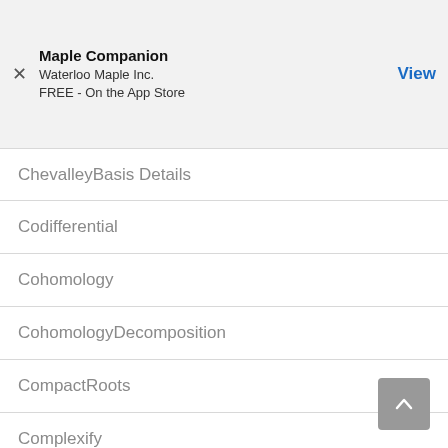Maple Companion
Waterloo Maple Inc.
FREE - On the App Store
ChevalleyBasis Details
Codifferential
Cohomology
CohomologyDecomposition
CompactRoots
Complexify
CoRoot
Decompose
Deformation
Derivation